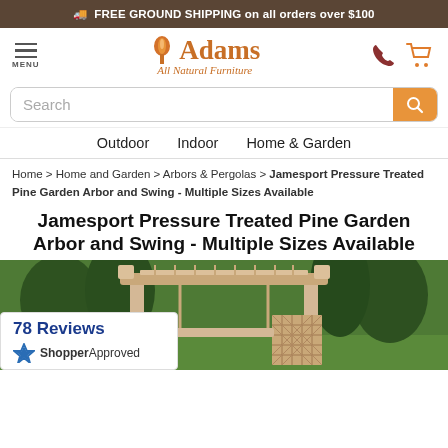FREE GROUND SHIPPING on all orders over $100
[Figure (logo): Adams All Natural Furniture logo with orange leaf/flame icon and orange text]
Search
Outdoor   Indoor   Home & Garden
Home > Home and Garden > Arbors & Pergolas > Jamesport Pressure Treated Pine Garden Arbor and Swing - Multiple Sizes Available
Jamesport Pressure Treated Pine Garden Arbor and Swing - Multiple Sizes Available
[Figure (photo): Photo of a natural pine wood garden arbor and swing structure outdoors on green lawn]
78 Reviews
[Figure (logo): ShopperApproved star badge logo]